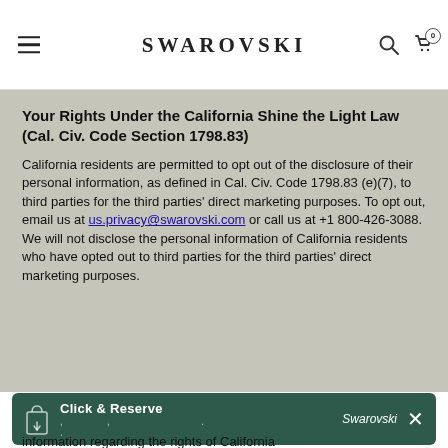SWAROVSKI
Your Rights Under the California Shine the Light Law (Cal. Civ. Code Section 1798.83)
California residents are permitted to opt out of the disclosure of their personal information, as defined in Cal. Civ. Code 1798.83 (e)(7), to third parties for the third parties' direct marketing purposes. To opt out, email us at us.privacy@swarovski.com or call us at +1 800-426-3088. We will not disclose the personal information of California residents who have opted out to third parties for the third parties' direct marketing purposes.
[Figure (infographic): Click & Reserve banner in dark green with a bag icon, dots text, Swarovski brand label, and close X button]
information regarding the rights of California